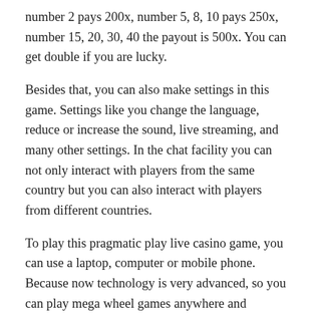number 2 pays 200x, number 5, 8, 10 pays 250x, number 15, 20, 30, 40 the payout is 500x. You can get double if you are lucky.
Besides that, you can also make settings in this game. Settings like you change the language, reduce or increase the sound, live streaming, and many other settings. In the chat facility you can not only interact with players from the same country but you can also interact with players from different countries.
To play this pragmatic play live casino game, you can use a laptop, computer or mobile phone. Because now technology is very advanced, so you can play mega wheel games anywhere and anytime.
Tagged as: agen live casino, best live casino, Casino,